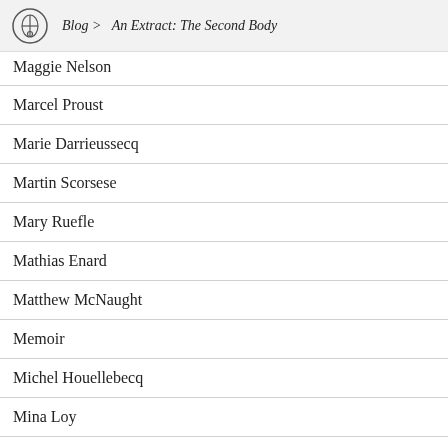Blog > An Extract: The Second Body
Maggie Nelson
Marcel Proust
Marie Darrieussecq
Martin Scorsese
Mary Ruefle
Mathias Enard
Matthew McNaught
Memoir
Michel Houellebecq
Mina Loy
Minor Literatures